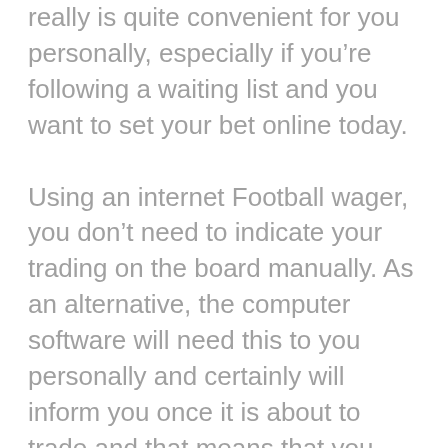really is quite convenient for you personally, especially if you're following a waiting list and you want to set your bet online today.
Using an internet Football wager, you don't need to indicate your trading on the board manually. As an alternative, the computer software will need this to you personally and certainly will inform you once it is about to trade and that means that you may place your bet in. You might also need the option to return or put bet when dealing in your football bet.
By Having an On-line UFABET, your